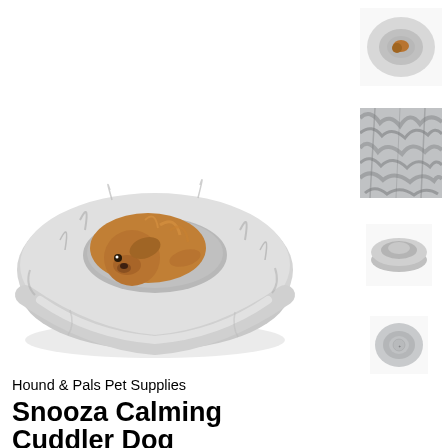[Figure (photo): Main product photo: A golden/brown fluffy dog (doodle breed) resting inside a large round donut-shaped pet bed with long shaggy gray/white fur material. The bed is oval/circular and plush-looking.]
[Figure (photo): Thumbnail 1: Small top-view of the round gray fluffy pet bed with a small dog visible inside, viewed from above.]
[Figure (photo): Thumbnail 2: Close-up detail shot of the gray shaggy fur texture of the pet bed.]
[Figure (photo): Thumbnail 3: Small side/top-view of the empty round gray plush pet bed, showing its donut shape.]
[Figure (photo): Thumbnail 4: Smaller top-down view of the round gray pet bed, appearing more compact/smaller size variant.]
Hound & Pals Pet Supplies
Snooza Calming Cuddler Dog